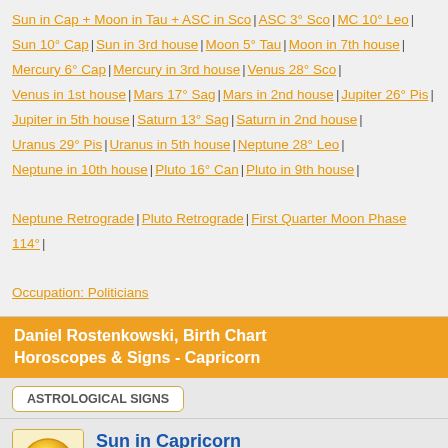Sun in Cap + Moon in Tau + ASC in Sco | ASC 3° Sco | MC 10° Leo | Sun 10° Cap | Sun in 3rd house | Moon 5° Tau | Moon in 7th house | Mercury 6° Cap | Mercury in 3rd house | Venus 28° Sco | Venus in 1st house | Mars 17° Sag | Mars in 2nd house | Jupiter 26° Pis | Jupiter in 5th house | Saturn 13° Sag | Saturn in 2nd house | Uranus 29° Pis | Uranus in 5th house | Neptune 28° Leo | Neptune in 10th house | Pluto 16° Can | Pluto in 9th house | Neptune Retrograde | Pluto Retrograde | First Quarter Moon Phase 114° | Occupation: Politicians
Daniel Rostenkowski, Birth Chart Horoscopes & Signs - Capricorn
ASTROLOGICAL SIGNS
[Figure (illustration): Sun symbol - golden/orange circular icon representing the Sun astrological symbol]
Sun in Capricorn
10°41'
Sun Sign - Zodiac Sign